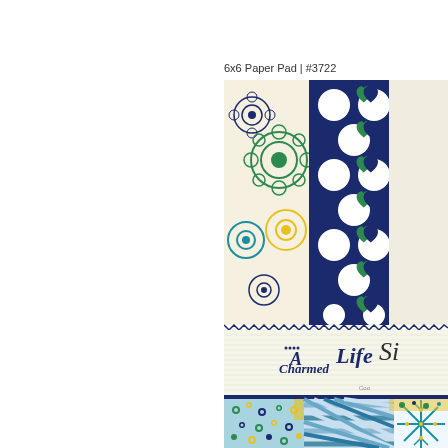6x6 Paper Pad | #3722
[Figure (photo): Product image of a 6x6 Paper Pad #3722 branded 'A Charmed Life' by Simple Stories. The image shows multiple decorative scrapbooking paper sheets fanned out, featuring patterns including: floral designs in navy, teal, yellow and green on cream background; navy blue polka dots on white; green and navy hearts on cream; small scattered flowers on light blue; diagonal stripes in blue/teal/white; and a snowflake design on white with teal and yellow accents. The brand label reads 'A Charmed Life' in navy script with decorative elements.]